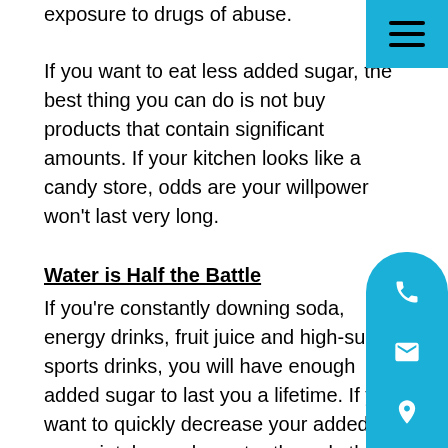exposure to drugs of abuse.
[Figure (other): Hamburger menu button in cyan/teal square, top right corner]
If you want to eat less added sugar, the best thing you can do is not buy products that contain significant amounts. If your kitchen looks like a candy store, odds are your willpower won't last very long.
Water is Half the Battle
If you're constantly downing soda, energy drinks, fruit juice and high-sugar sports drinks, you will have enough added sugar to last you a lifetime. If you want to quickly decrease your added sugar intake, make water the only thing you drink.
Unsweetened teas or plain coffee can be used to spice things up, but if you're consuming a lot of added sugar via your beverages, you're going to find it very difficult to
[Figure (other): Floating contact widget with phone, mail, and location icons in cyan/teal, bottom right]